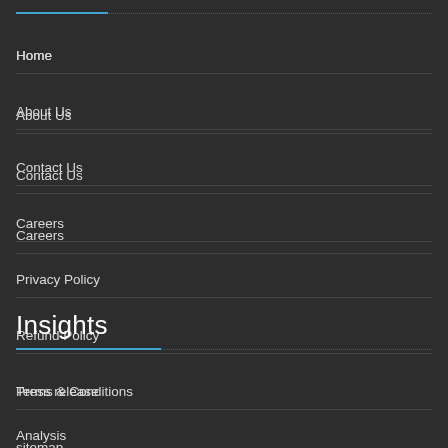Home
About Us
Contact Us
Careers
Privacy Policy
Refund Policy
Terms & Conditions
sitemap
Insights
Press release
Analysis